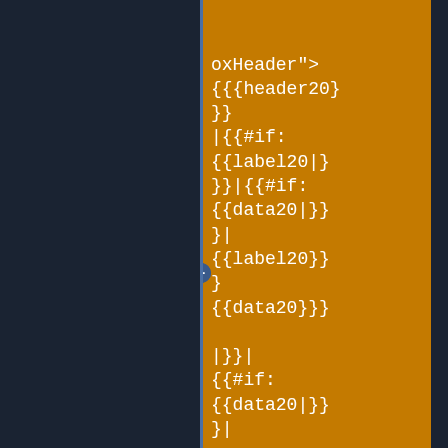[Figure (screenshot): Code diff view showing two columns of template/HTML code. Left dark navy background area is mostly empty. Middle column has orange background with white monospace code showing template syntax. Right column has green background with similar template code. Both columns show Mustache/Handlebars template syntax for table row generation with labels and data fields.]